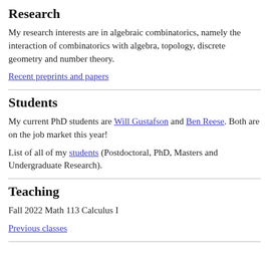Research
My research interests are in algebraic combinatorics, namely the interaction of combinatorics with algebra, topology, discrete geometry and number theory.
Recent preprints and papers
Students
My current PhD students are Will Gustafson and Ben Reese. Both are on the job market this year!
List of all of my students (Postdoctoral, PhD, Masters and Undergraduate Research).
Teaching
Fall 2022 Math 113 Calculus I
Previous classes